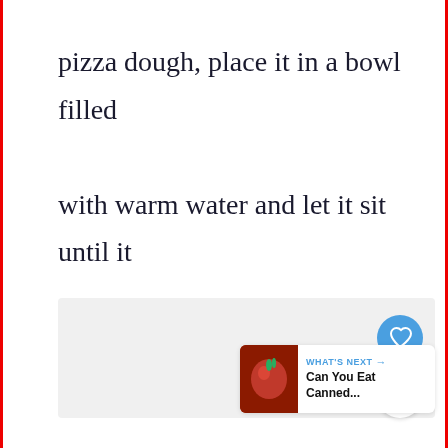pizza dough, place it in a bowl filled with warm water and let it sit until it becomes soft enough to handle.
[Figure (screenshot): UI overlay with a like (heart) button in blue circle, a share button in white circle, and a 'WHAT'S NEXT' card showing a tomato image and text 'Can You Eat Canned...']